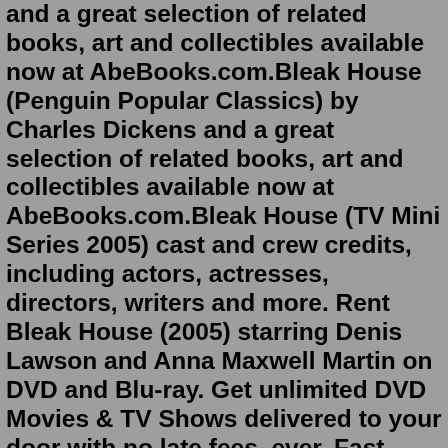and a great selection of related books, art and collectibles available now at AbeBooks.com.Bleak House (Penguin Popular Classics) by Charles Dickens and a great selection of related books, art and collectibles available now at AbeBooks.com.Bleak House (TV Mini Series 2005) cast and crew credits, including actors, actresses, directors, writers and more. Rent Bleak House (2005) starring Denis Lawson and Anna Maxwell Martin on DVD and Blu-ray. Get unlimited DVD Movies & TV Shows delivered to your door with no late fees, ever. Fast, free delivery.Bleak House is a novel by Charles Dickens, first published as a 20-episode serial between March 1852 and September 1853. The novel has many characters and several sub-plots, and is told partly by the novel's heroine, Esther Summerson, and partly by an omniscient narrator. Bleak House is a fifteen-part BBC television drama serial adaptation of Charles Dickens' novel Bleak House, which was originally published in 1852-53. Produced with an all-star cast, the serial was shown on BBC One from 27 October to